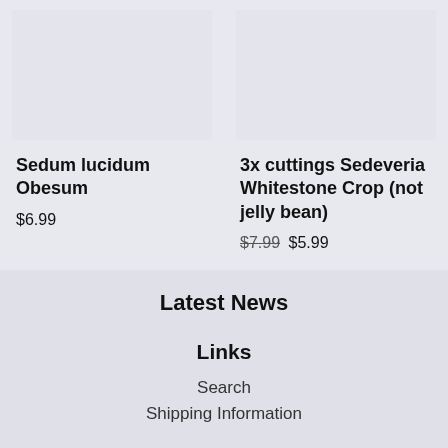[Figure (photo): Product image placeholder for Sedum lucidum Obesum]
Sedum lucidum Obesum
$6.99
[Figure (photo): Product image placeholder for 3x cuttings Sedeveria Whitestone Crop (not jelly bean)]
3x cuttings Sedeveria Whitestone Crop (not jelly bean)
$7.99 $5.99
Latest News
Links
Search
Shipping Information